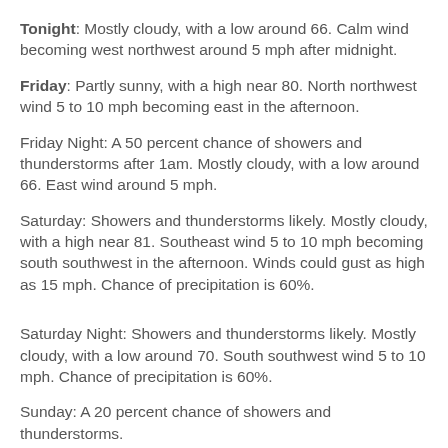Tonight: Mostly cloudy, with a low around 66. Calm wind becoming west northwest around 5 mph after midnight.
Friday: Partly sunny, with a high near 80. North northwest wind 5 to 10 mph becoming east in the afternoon.
Friday Night: A 50 percent chance of showers and thunderstorms after 1am. Mostly cloudy, with a low around 66. East wind around 5 mph.
Saturday: Showers and thunderstorms likely. Mostly cloudy, with a high near 81. Southeast wind 5 to 10 mph becoming south southwest in the afternoon. Winds could gust as high as 15 mph. Chance of precipitation is 60%.
Saturday Night: Showers and thunderstorms likely. Mostly cloudy, with a low around 70. South southwest wind 5 to 10 mph. Chance of precipitation is 60%.
Sunday: A 20 percent chance of showers and thunderstorms.